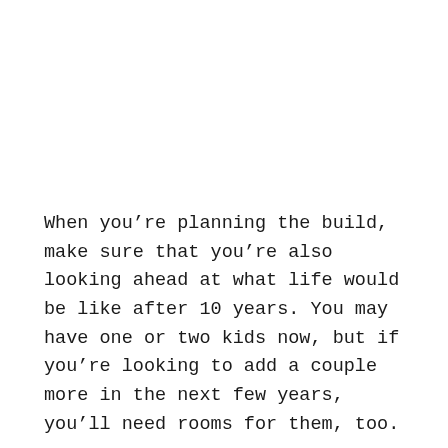When you're planning the build, make sure that you're also looking ahead at what life would be like after 10 years. You may have one or two kids now, but if you're looking to add a couple more in the next few years, you'll need rooms for them, too.
The best way to do this is to have extra rooms or space that can accommodate expansion in the future. Having a huge family room means you can partition them if you have plans to have more